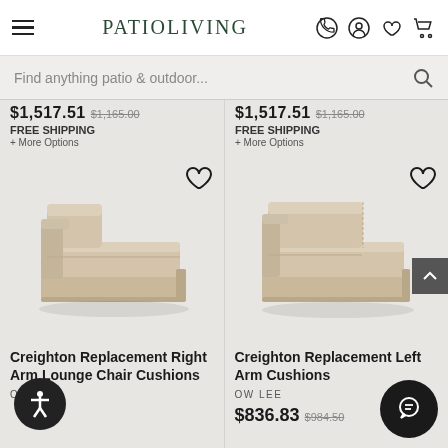PATIOLIVING
Find anything patio & outdoor...
$1,517.51 $1,165.00 FREE SHIPPING + More Options
$1,517.51 $1,165.00 FREE SHIPPING + More Options
[Figure (photo): Creighton Replacement Right Arm Lounge Chair — beige upholstered armchair, angled product photo]
[Figure (photo): Creighton Replacement Left Arm Cushions — beige upholstered armchair, angled product photo]
Creighton Replacement Right Arm Lounge Chair Cushions
OW LEE
Creighton Replacement Left Arm Cushions
OW LEE
$836.83  $984.50